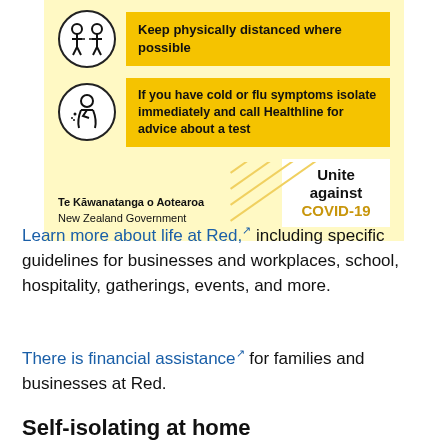[Figure (infographic): New Zealand Government COVID-19 infographic on yellow background with two rules: 'Keep physically distanced where possible' and 'If you have cold or flu symptoms isolate immediately and call Healthline for advice about a test', with Te Kawanatanga o Aotearoa / New Zealand Government branding and Unite against COVID-19 logo]
Learn more about life at Red, [external link] including specific guidelines for businesses and workplaces, school, hospitality, gatherings, events, and more.
There is financial assistance [external link] for families and businesses at Red.
Self-isolating at home